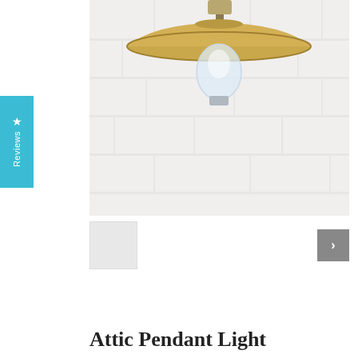[Figure (photo): Close-up photo of an Attic Pendant Light with a brass/gold colored wide brim shade and a clear Edison-style bulb visible underneath, hanging against a white painted brick wall background.]
[Figure (other): Reviews tab on the left side of the page — a teal/cyan colored vertical tab with a white star icon and the word 'Reviews' written vertically in white text.]
[Figure (photo): Thumbnail image strip showing a small light grey thumbnail on the left and a grey right-arrow navigation button on the right.]
Attic Pendant Light